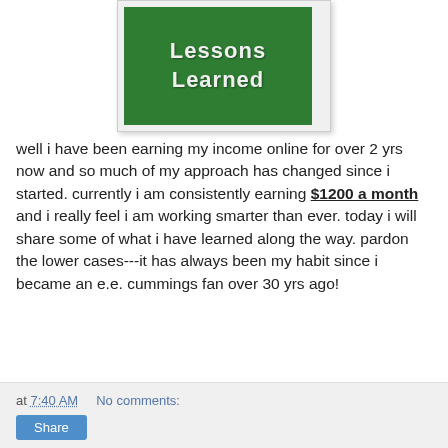[Figure (photo): A green chalkboard with white chalk handwriting reading 'Lessons Learned', displayed in a white/grey bordered frame.]
well i have been earning my income online for over 2 yrs now and so much of my approach has changed since i started. currently i am consistently earning $1200 a month and i really feel i am working smarter than ever. today i will share some of what i have learned along the way. pardon the lower cases---it has always been my habit since i became an e.e. cummings fan over 30 yrs ago!
at 7:40 AM   No comments:   Share